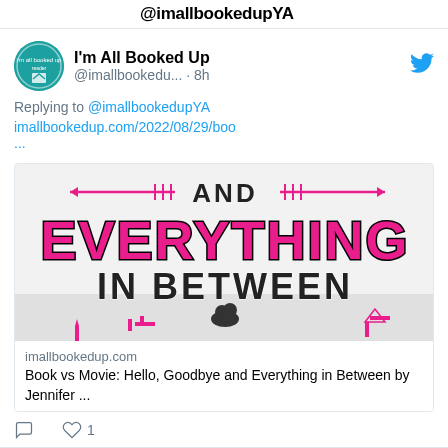@imallbookedupYA
I'm All Booked Up
@imallbookedu... · 8h
Replying to @imallbookedupYA
imallbookedup.com/2022/08/29/boo
...
[Figure (screenshot): Book cover image for 'And Everything in Between' with pink and black decorative text and arrows, city silhouette and couple in foreground]
imallbookedup.com
Book vs Movie: Hello, Goodbye and Everything in Between by Jennifer ...
1